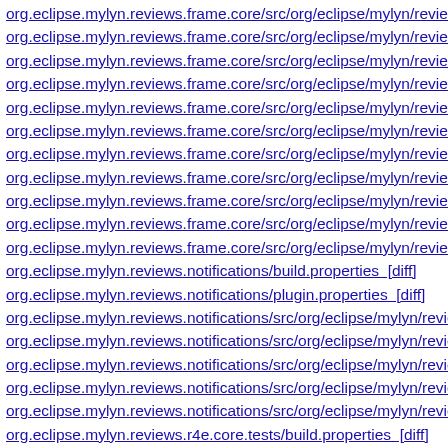org.eclipse.mylyn.reviews.frame.core/src/org/eclipse/mylyn/reviews
org.eclipse.mylyn.reviews.frame.core/src/org/eclipse/mylyn/reviews
org.eclipse.mylyn.reviews.frame.core/src/org/eclipse/mylyn/reviews
org.eclipse.mylyn.reviews.frame.core/src/org/eclipse/mylyn/reviews
org.eclipse.mylyn.reviews.frame.core/src/org/eclipse/mylyn/reviews
org.eclipse.mylyn.reviews.frame.core/src/org/eclipse/mylyn/reviews
org.eclipse.mylyn.reviews.frame.core/src/org/eclipse/mylyn/reviews
org.eclipse.mylyn.reviews.frame.core/src/org/eclipse/mylyn/reviews
org.eclipse.mylyn.reviews.frame.core/src/org/eclipse/mylyn/reviews
org.eclipse.mylyn.reviews.frame.core/src/org/eclipse/mylyn/reviews
org.eclipse.mylyn.reviews.frame.core/src/org/eclipse/mylyn/reviews
org.eclipse.mylyn.reviews.notifications/build.properties [diff]
org.eclipse.mylyn.reviews.notifications/plugin.properties [diff]
org.eclipse.mylyn.reviews.notifications/src/org/eclipse/mylyn/review
org.eclipse.mylyn.reviews.notifications/src/org/eclipse/mylyn/review
org.eclipse.mylyn.reviews.notifications/src/org/eclipse/mylyn/review
org.eclipse.mylyn.reviews.notifications/src/org/eclipse/mylyn/review
org.eclipse.mylyn.reviews.notifications/src/org/eclipse/mylyn/review
org.eclipse.mylyn.reviews.r4e.core.tests/build.properties [diff]
org.eclipse.mylyn.reviews.r4e.core.tests/egitImport/org/eclipse/egit
org.eclipse.mylyn.reviews.r4e.core.tests/egitImport/org/eclipse/egit
org.eclipse.mylyn.reviews.r4e.core.tests/egitImport/org/eclipse/egit